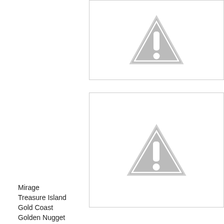[Figure (other): Warning/placeholder image placeholder box with a gray triangle exclamation mark icon, partially visible at top of page, cut off on right side]
[Figure (other): Warning/placeholder image placeholder box with a gray triangle exclamation mark icon, second box lower on page]
Mirage
Treasure Island
Gold Coast
Golden Nugget